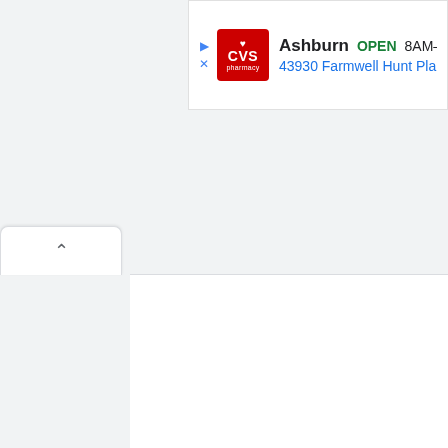[Figure (screenshot): CVS Pharmacy ad banner showing Ashburn location OPEN 8AM-1 at 43930 Farmwell Hunt Pla, with CVS logo in red, play and close icons on the left]